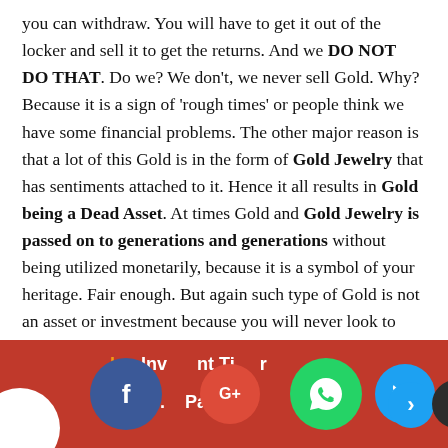you can withdraw. You will have to get it out of the locker and sell it to get the returns. And we DO NOT DO THAT. Do we? We don't, we never sell Gold. Why? Because it is a sign of 'rough times' or people think we have some financial problems. The other major reason is that a lot of this Gold is in the form of Gold Jewelry that has sentiments attached to it. Hence it all results in Gold being a Dead Asset. At times Gold and Gold Jewelry is passed on to generations and generations without being utilized monetarily, because it is a symbol of your heritage. Fair enough. But again such type of Gold is not an asset or investment because you will never look to monetize it.
[Figure (other): Red footer bar with social sharing icons (Facebook, Google+, WhatsApp, Twitter, and more) and navigation text 'Also [read] Investment Tips for Beginners Part [2]']